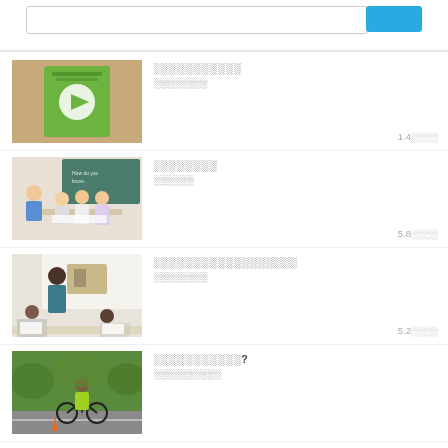[Figure (screenshot): Search bar with blue button at top]
[Figure (photo): Green book/CD cover on brown background - first list item thumbnail]
░░░░░░░░░░░
░░░░░░░░
1.4░░░░
[Figure (photo): Teacher with students at classroom desks - second list item thumbnail]
░░░░░░░░
░░░░░░
5.8░░░░
[Figure (photo): Teacher and students in classroom activity - third list item thumbnail]
░░░░░░░░░░░░░░░░░░
░░░░░░░░
5.2░░░░
[Figure (photo): Person in high-visibility jacket with bicycle on road - fourth list item thumbnail]
░░░░░░░░░░░?
░░░░░░░░░░